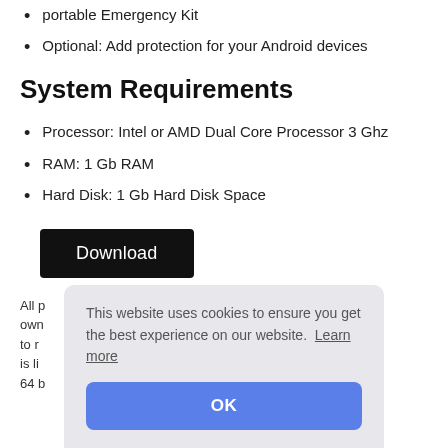portable Emergency Kit
Optional: Add protection for your Android devices
System Requirements
Processor: Intel or AMD Dual Core Processor 3 Ghz
RAM: 1 Gb RAM
Hard Disk: 1 Gb Hard Disk Space
Download
All p own to r is li 64 b
This website uses cookies to ensure you get the best experience on our website. Learn more
OK